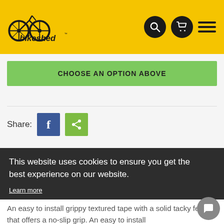bikeshed — navigation header with logo, search, cart, and menu icons
CHOOSE AN OPTION ABOVE
Share:
This website uses cookies to ensure you get the best experience on our website. Learn more
Got it!
An easy to install grippy textured tape with a solid tacky feel that offers a no-slip grip. An easy to install